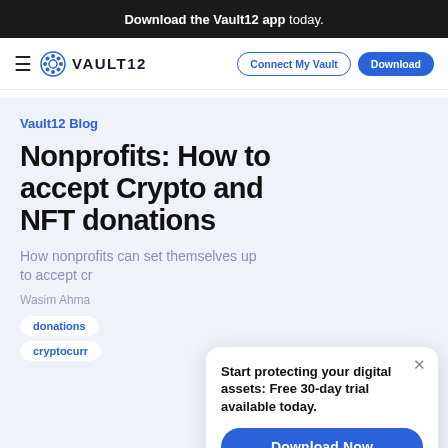Download the Vault12 app today.
VAULT12  Connect My Vault  Download
Vault12 Blog
Nonprofits: How to accept Crypto and NFT donations
How nonprofits can set themselves up to accept cr
Wasim Ahma
donations
cryptocurr
Start protecting your digital assets: Free 30-day trial available today.
Download Now